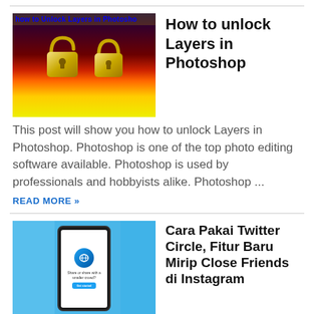[Figure (screenshot): Thumbnail image for 'How to unlock Layers in Photoshop' showing two golden padlock icons on a colorful gradient background (dark purple to red to orange to yellow), with blue text 'how to Unlock Layers in Photosho' at the top]
How to unlock Layers in Photoshop
This post will show you how to unlock Layers in Photoshop. Photoshop is one of the top photo editing software available. Photoshop is used by professionals and hobbyists alike. Photoshop ...
READ MORE »
[Figure (screenshot): Thumbnail image for Twitter Circle article showing a smartphone with Twitter Circle interface on screen, against a blue tarp/textile background]
Cara Pakai Twitter Circle, Fitur Baru Mirip Close Friends di Instagram
Fitur Circle Twitter. Foto: Twitter Twitter secara resmi meluncurkan fitur Cirlce secara global pada Rabu (31/8). Circle merupakan fitur yang memit...